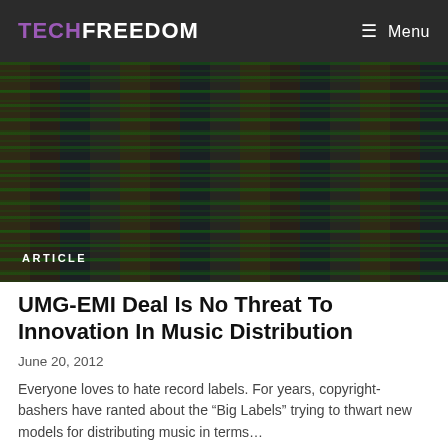TECHFREEDOM Menu
[Figure (photo): Blurred colorful code on a dark screen, hero image for article]
ARTICLE
UMG-EMI Deal Is No Threat To Innovation In Music Distribution
June 20, 2012
Everyone loves to hate record labels. For years, copyright-bashers have ranted about the “Big Labels” trying to thwart new models for distributing music in terms…
innovation
competition
antitrust